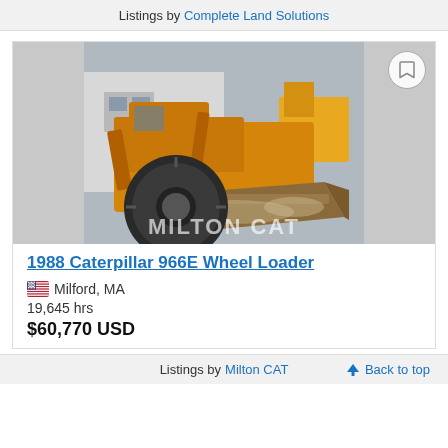Listings by Complete Land Solutions
[Figure (photo): Photo of a 1988 Caterpillar 966E Wheel Loader, yellow/orange, with large front bucket and oversized tires. Watermark reads MILTON CAT.]
1988 Caterpillar 966E Wheel Loader
Milford, MA
19,645 hrs
$60,770 USD
Listings by Milton CAT